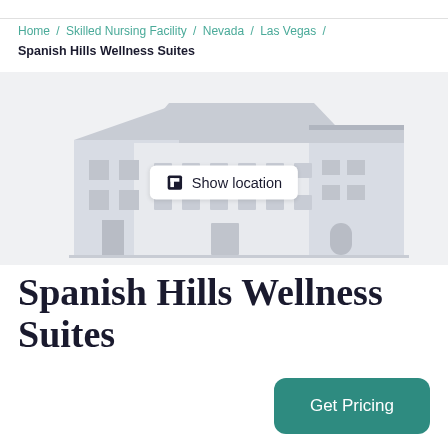Home / Skilled Nursing Facility / Nevada / Las Vegas / Spanish Hills Wellness Suites
[Figure (illustration): Gray illustration of a building/facility with a 'Show location' button overlay in the center]
Spanish Hills Wellness Suites
Get Pricing